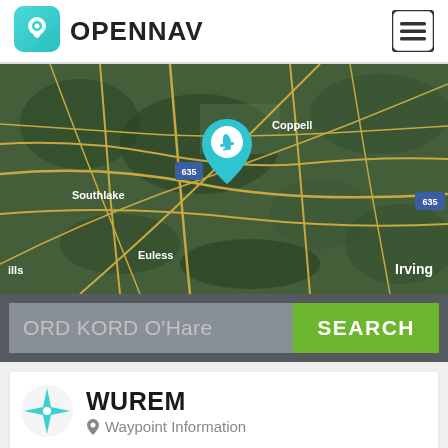[Figure (logo): OpenNav app logo: teal map pin with circle inside, rounded square background]
OPENNAV
[Figure (map): Satellite aerial map of Dallas/Fort Worth area showing Southlake, Coppell, Carrollton, Farmers Branch, Richardson, Garland, University Park, Euless, Irving, Dallas, with highway 635 markers and a teal airport location pin]
ORD KORD O'Hare
SEARCH
WUREM
Waypoint Information